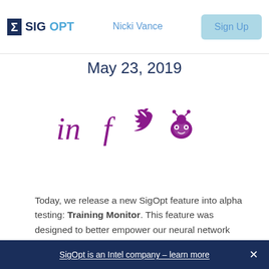Nicki Vance | Sign Up | SigOpt logo
May 23, 2019
[Figure (infographic): Four social media sharing icons in purple: LinkedIn (in), Facebook (f), Twitter (bird), Reddit (alien)]
Today, we release a new SigOpt feature into alpha testing: Training Monitor. This feature was designed to better empower our neural network developers. By storing information throughout a neural network training we enable users to:
SigOpt is an Intel company – learn more  ×